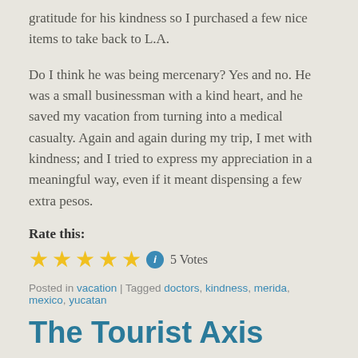gratitude for his kindness so I purchased a few nice items to take back to L.A.
Do I think he was being mercenary? Yes and no. He was a small businessman with a kind heart, and he saved my vacation from turning into a medical casualty. Again and again during my trip, I met with kindness; and I tried to express my appreciation in a meaningful way, even if it meant dispensing a few extra pesos.
Rate this:
★★★★★ ℹ 5 Votes
Posted in vacation | Tagged doctors, kindness, merida, mexico, yucatan
The Tourist Axis